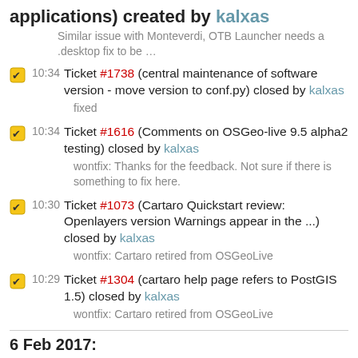applications) created by kalxas
Similar issue with Monteverdi, OTB Launcher needs a .desktop fix to be …
10:34 Ticket #1738 (central maintenance of software version - move version to conf.py) closed by kalxas
fixed
10:34 Ticket #1616 (Comments on OSGeo-live 9.5 alpha2 testing) closed by kalxas
wontfix: Thanks for the feedback. Not sure if there is something to fix here.
10:30 Ticket #1073 (Cartaro Quickstart review: Openlayers version Warnings appear in the ...) closed by kalxas
wontfix: Cartaro retired from OSGeoLive
10:29 Ticket #1304 (cartaro help page refers to PostGIS 1.5) closed by kalxas
wontfix: Cartaro retired from OSGeoLive
6 Feb 2017: